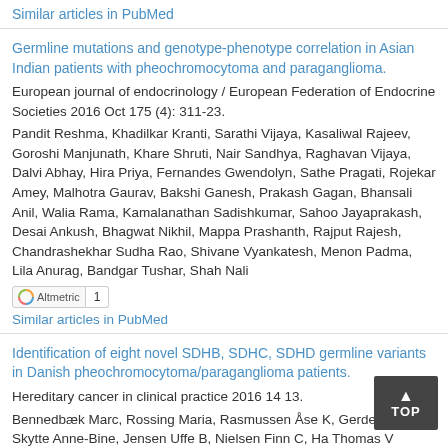Similar articles in PubMed
Germline mutations and genotype-phenotype correlation in Asian Indian patients with pheochromocytoma and paraganglioma.
European journal of endocrinology / European Federation of Endocrine Societies 2016 Oct 175 (4): 311-23.
Pandit Reshma, Khadilkar Kranti, Sarathi Vijaya, Kasaliwal Rajeev, Goroshi Manjunath, Khare Shruti, Nair Sandhya, Raghavan Vijaya, Dalvi Abhay, Hira Priya, Fernandes Gwendolyn, Sathe Pragati, Rojekar Amey, Malhotra Gaurav, Bakshi Ganesh, Prakash Gagan, Bhansali Anil, Walia Rama, Kamalanathan Sadishkumar, Sahoo Jayaprakash, Desai Ankush, Bhagwat Nikhil, Mappa Prashanth, Rajput Rajesh, Chandrashekhar Sudha Rao, Shivane Vyankatesh, Menon Padma, Lila Anurag, Bandgar Tushar, Shah Nali
Altmetric 1
Similar articles in PubMed
Identification of eight novel SDHB, SDHC, SDHD germline variants in Danish pheochromocytoma/paraganglioma patients.
Hereditary cancer in clinical practice 2016 14 13.
Bennedbæk Marc, Rossing Maria, Rasmussen Åse K, Gerdes Marie, Skytte Anne-Bine, Jensen Uffe B, Nielsen Finn C, Ha Thomas V